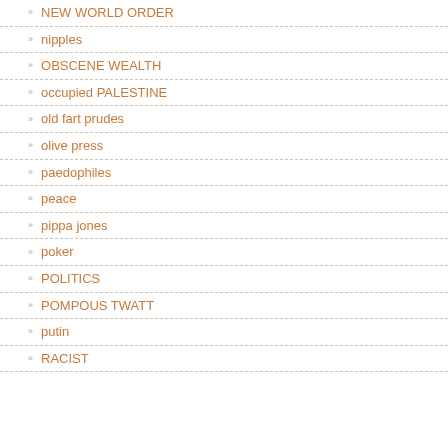NEW WORLD ORDER
nipples
OBSCENE WEALTH
occupied PALESTINE
old fart prudes
olive press
paedophiles
peace
pippa jones
poker
POLITICS
POMPOUS TWATT
putin
RACIST